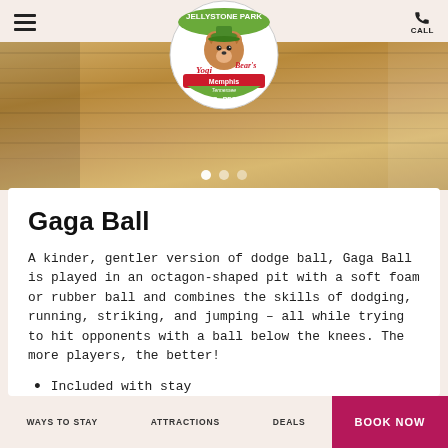Jellystone Park Yogi Bear's Memphis Tennessee Camp-Resort — Navigation header with hamburger menu and CALL button
[Figure (photo): Wooden plank texture background photo strip with pagination dots]
Gaga Ball
A kinder, gentler version of dodge ball, Gaga Ball is played in an octagon-shaped pit with a soft foam or rubber ball and combines the skills of dodging, running, striking, and jumping – all while trying to hit opponents with a ball below the knees. The more players, the better!
Included with stay
All Season
Fun For All Ages
WAYS TO STAY   ATTRACTIONS   DEALS   BOOK NOW